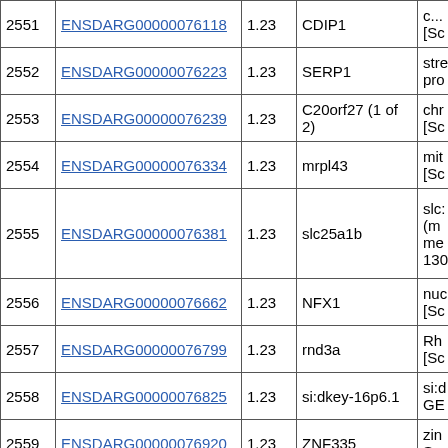| # | Ensembl ID | FC | Gene | Description |
| --- | --- | --- | --- | --- |
| 2551 | ENSDARG00000076118 | 1.23 | CDIP1 | [Sc... |
| 2552 | ENSDARG00000076223 | 1.23 | SERP1 | stre pro... |
| 2553 | ENSDARG00000076239 | 1.23 | C20orf27 (1 of 2) | chr [Sc... |
| 2554 | ENSDARG00000076334 | 1.23 | mrpl43 | mit [Sc... |
| 2555 | ENSDARG00000076381 | 1.23 | slc25a1b | slc (m me 130... |
| 2556 | ENSDARG00000076662 | 1.23 | NFX1 | nuc [Sc... |
| 2557 | ENSDARG00000076799 | 1.23 | rnd3a | Rh [Sc... |
| 2558 | ENSDARG00000076825 | 1.23 | si:dkey-16p6.1 | si:d GE... |
| 2559 | ENSDARG00000076920 | 1.23 | ZNF335 | zin Sy... |
| 2560 | ENSDARG00000076962 | 1.23 | gdpd5b | gly dor [Sc... |